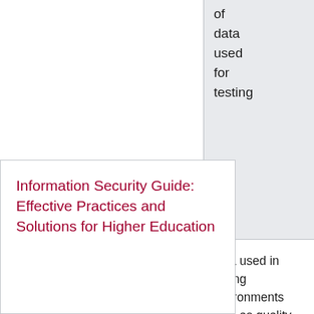| of
data
used
for
testing |
Data used in testing environments such as quality assurance, test and development must be protected against unauthorized access.
For
Information Security Guide: Effective Practices and Solutions for Higher Education